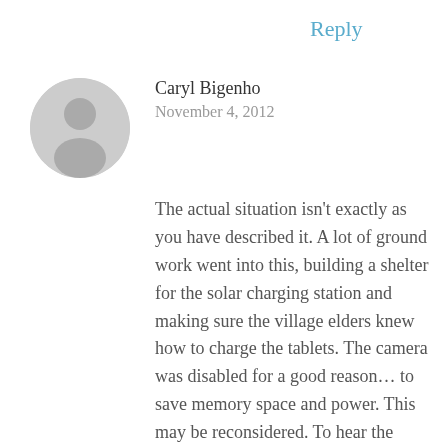Reply
[Figure (illustration): Circular avatar placeholder showing a grey silhouette of a person on a light grey background]
Caryl Bigenho
November 4, 2012
The actual situation isn't exactly as you have described it. A lot of ground work went into this, building a shelter for the solar charging station and making sure the village elders knew how to charge the tablets. The camera was disabled for a good reason… to save memory space and power. This may be reconsidered. To hear the real/whole story from some of the folks involved, you can watch Parts 1 and 2 from